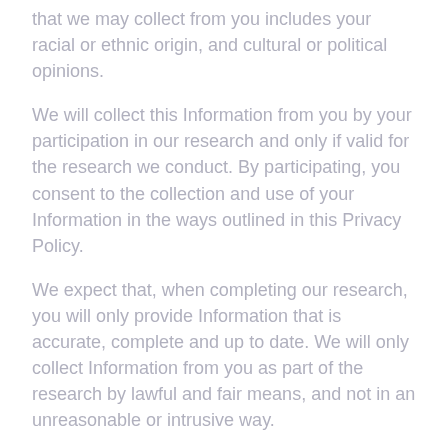that we may collect from you includes your racial or ethnic origin, and cultural or political opinions.
We will collect this Information from you by your participation in our research and only if valid for the research we conduct. By participating, you consent to the collection and use of your Information in the ways outlined in this Privacy Policy.
We expect that, when completing our research, you will only provide Information that is accurate, complete and up to date. We will only collect Information from you as part of the research by lawful and fair means, and not in an unreasonable or intrusive way.
Where it is lawful and practicable to do so, we will offer you the option of interacting with us anonymously or by using a pseudonym. However, in certain circumstances, such as when we receive participant contact details from a third party or where the research data itself may potentially allow for identification, this may not be practicable.